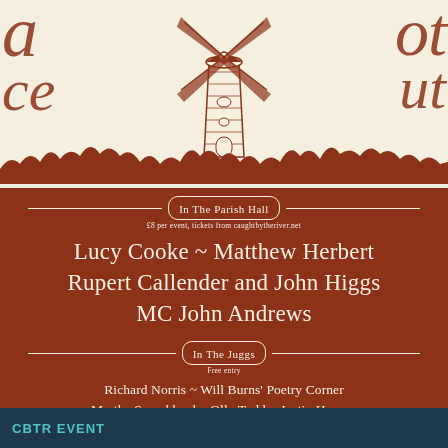[Figure (illustration): Decorative windmill etching illustration centered in a cream/off-white background area, with large decorative letters 'a', 'ce' on left and 'out' on right in rust/brown color, and a treeline silhouette at the bottom]
In The Parish Hall
£8 per event, tickets from caughtbytheriver.net
Lucy Cooke ~ Matthew Herbert
Rupert Callender and John Higgs
MC John Andrews
In The Juggs
Free entry
Richard Norris ~ Will Burns' Poetry Corner
Martha Sprackland ~ Olly Todd ~ Justin Hopper
Danny Champ and friends ~ The Knots of May
+ Downstream film screening ~ Pizza Van ~ Bookstall and more
Caught by the River: an arts / nature / culture clash
CBTR EVENT